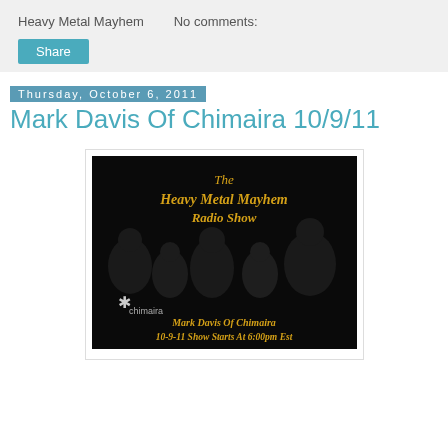Heavy Metal Mayhem    No comments:
Share
Thursday, October 6, 2011
Mark Davis Of Chimaira 10/9/11
[Figure (photo): Promotional image for The Heavy Metal Mayhem Radio Show featuring the band Chimaira. Dark background with gold gothic text reading 'The Heavy Metal Mayhem Radio Show' at top, five band members posing, Chimaira logo bottom left, and text 'Mark Davis Of Chimaira 10-9-11 Show Starts At 6:00pm Est' at bottom in gold gothic font.]